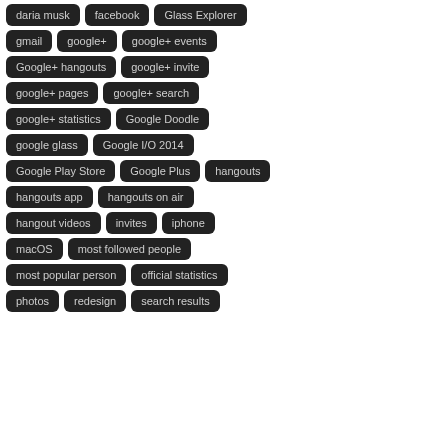daria musk
facebook
Glass Explorer
gmail
google+
google+ events
Google+ hangouts
google+ invite
google+ pages
google+ search
google+ statistics
Google Doodle
google glass
Google I/O 2014
Google Play Store
Google Plus
hangouts
hangouts app
hangouts on air
hangout videos
invites
iphone
macOS
most followed people
most popular person
official statistics
photos
redesign
search results